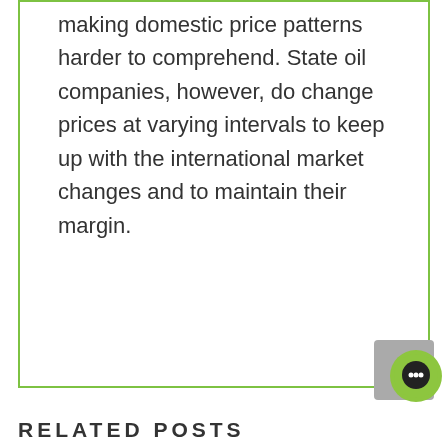making domestic price patterns harder to comprehend. State oil companies, however, do change prices at varying intervals to keep up with the international market changes and to maintain their margin.
Market Outlook Stocks, Markets News, Trade Idea, Trade Idea Stocks
RELATED POSTS